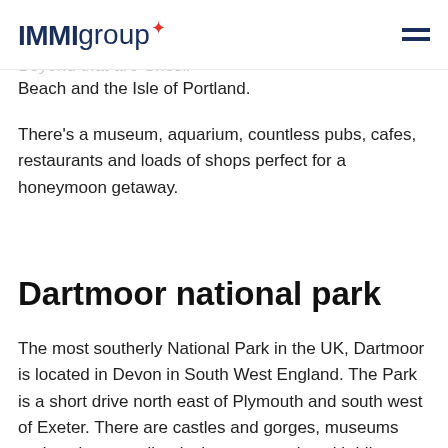IMMIgroup
one of the most dramatic stretches of the Jurassic en Cap and the distinctive orange cliffs at West Bay. Beyond that are Chesil Beach and the Isle of Portland.
There's a museum, aquarium, countless pubs, cafes, restaurants and loads of shops perfect for a honeymoon getaway.
Dartmoor national park
The most southerly National Park in the UK, Dartmoor is located in Devon in South West England. The Park is a short drive north east of Plymouth and south west of Exeter. There are castles and gorges, museums and ancient woodlands that are popular with hikers.